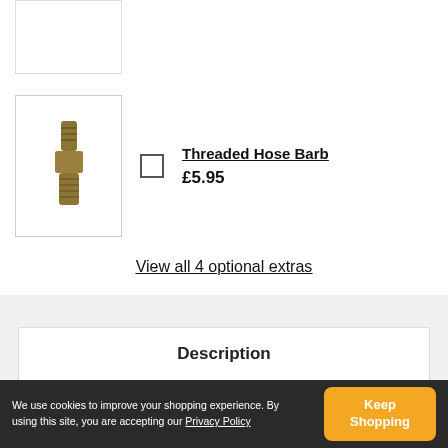[Figure (photo): Partial view of a product image box at the top of the page]
[Figure (photo): Brass threaded hose barb fitting product image in a bordered box]
Threaded Hose Barb £5.95
View all 4 optional extras
Description
We use cookies to improve your shopping experience. By using this site, you are accepting our Privacy Policy